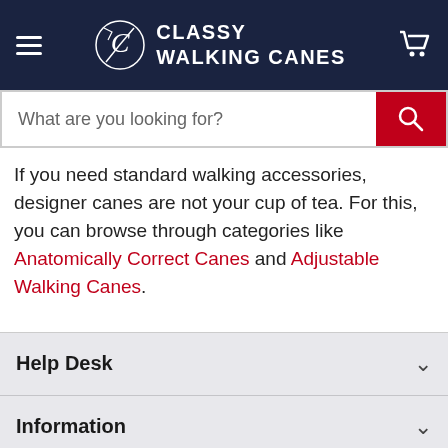CLASSY WALKING CANES
If you need standard walking accessories, designer canes are not your cup of tea. For this, you can browse through categories like Anatomically Correct Canes and Adjustable Walking Canes.
Help Desk
Information
Popular Links